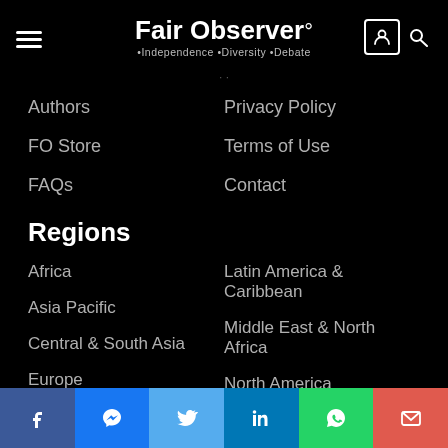Fair Observer° •Independence •Diversity •Debate
Authors
Privacy Policy
FO Store
Terms of Use
FAQs
Contact
Regions
Africa
Latin America & Caribbean
Asia Pacific
Middle East & North Africa
Central & South Asia
North America
Europe